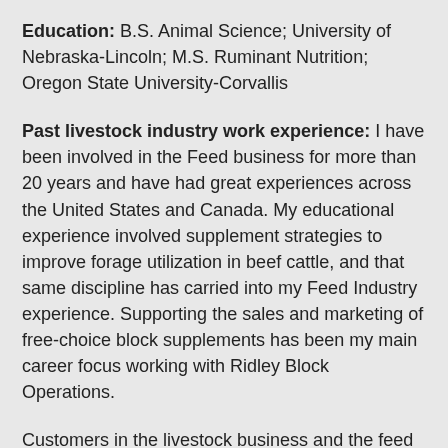Education: B.S. Animal Science; University of Nebraska-Lincoln; M.S. Ruminant Nutrition; Oregon State University-Corvallis
Past livestock industry work experience: I have been involved in the Feed business for more than 20 years and have had great experiences across the United States and Canada. My educational experience involved supplement strategies to improve forage utilization in beef cattle, and that same discipline has carried into my Feed Industry experience. Supporting the sales and marketing of free-choice block supplements has been my main career focus working with Ridley Block Operations.
Customers in the livestock business and the feed business it supports are my career motivators. Not many people in North America devote so much time and effort to their business as do those in the livestock industry.  It’s truly a way of life.  I